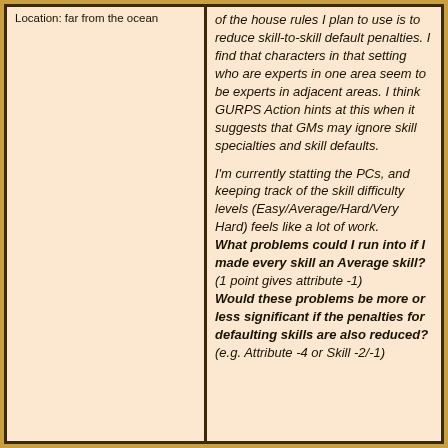Location: far from the ocean
of the house rules I plan to use is to reduce skill-to-skill default penalties. I find that characters in that setting who are experts in one area seem to be experts in adjacent areas. I think GURPS Action hints at this when it suggests that GMs may ignore skill specialties and skill defaults.

I'm currently statting the PCs, and keeping track of the skill difficulty levels (Easy/Average/Hard/Very Hard) feels like a lot of work.
What problems could I run into if I made every skill an Average skill? (1 point gives attribute -1)
Would these problems be more or less significant if the penalties for defaulting skills are also reduced? (e.g. Attribute -4 or Skill -2/-1)